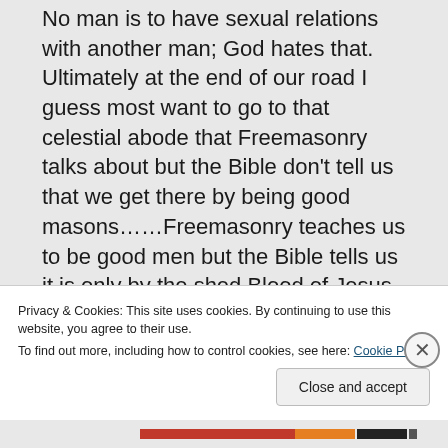No man is to have sexual relations with another man; God hates that. Ultimately at the end of our road I guess most want to go to that celestial abode that Freemasonry talks about but the Bible don't tell us that we get there by being good masons……Freemasonry teaches us to be good men but the Bible tells us it is only by the shed Blood of Jesus Christ and excepting that
Privacy & Cookies: This site uses cookies. By continuing to use this website, you agree to their use. To find out more, including how to control cookies, see here: Cookie Policy
Close and accept